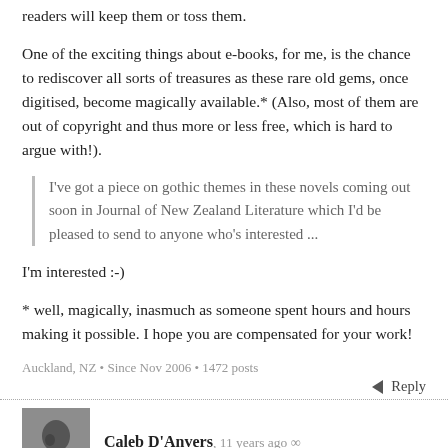readers will keep them or toss them.
One of the exciting things about e-books, for me, is the chance to rediscover all sorts of treasures as these rare old gems, once digitised, become magically available.* (Also, most of them are out of copyright and thus more or less free, which is hard to argue with!).
I've got a piece on gothic themes in these novels coming out soon in Journal of New Zealand Literature which I'd be pleased to send to anyone who's interested ...
I'm interested :-)
* well, magically, inasmuch as someone spent hours and hours making it possible. I hope you are compensated for your work!
Auckland, NZ • Since Nov 2006 • 1472 posts
Reply
Caleb D'Anvers, 11 years ago ∞